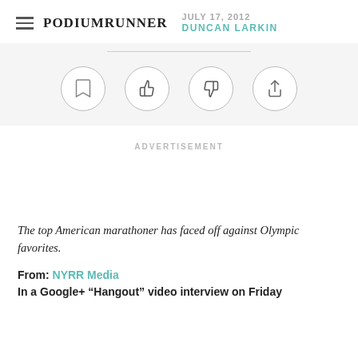PodiumRunner | JULY 17, 2012 | DUNCAN LARKIN
[Figure (infographic): Four circular icon buttons: bookmark, thumbs up, thumbs down, share/upload]
ADVERTISEMENT
The top American marathoner has faced off against Olympic favorites.
From: NYRR Media
In a Google+ "Hangout" video interview on Friday